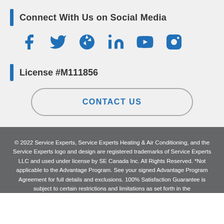Connect With Us on Social Media
[Figure (illustration): Six social media icons: Facebook, Twitter, Yelp, LinkedIn, YouTube, Instagram — all in blue]
License #M111856
CONTACT US
© 2022 Service Experts, Service Experts Heating & Air Conditioning, and the Service Experts logo and design are registered trademarks of Service Experts LLC and used under license by SE Canada Inc. All Rights Reserved. *Not applicable to the Advantage Program. See your signed Advantage Program Agreement for full details and exclusions. 100% Satisfaction Guarantee is subject to certain restrictions and limitations as set forth in the